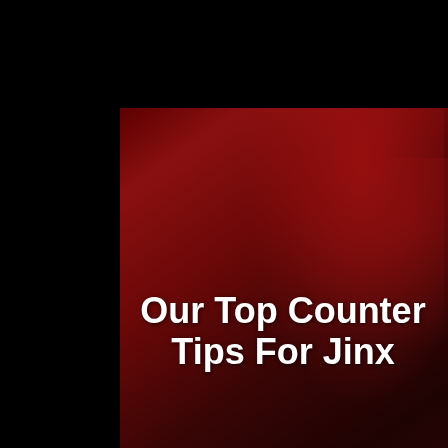[Figure (logo): Total Impact gaming website logo - stylized skull/character emblem with red and gold colors]
[Figure (illustration): Menu/hamburger button icon, red square with three white horizontal lines]
Our Top Counter Tips For Jinx
[Figure (illustration): Jinx character art from League of Legends - dark red themed artwork showing a female character with red accents against a crimson background]
[Figure (illustration): Partial view of a champion/character avatar circle at bottom of page, blue-toned circular portrait]